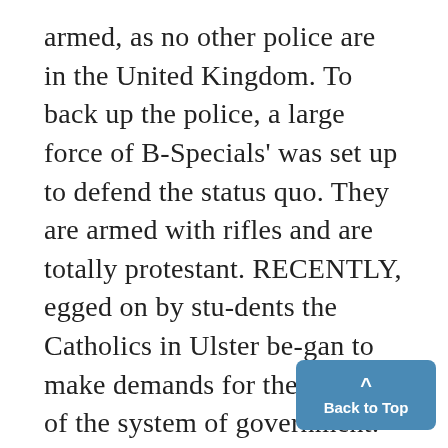armed, as no other police are in the United Kingdom. To back up the police, a large force of B-Specials' was set up to defend the status quo. They are armed with rifles and are totally protestant. RECENTLY, egged on by stu-dents the Catholics in Ulster be-gan to make demands for the re-form of the system of government. These were met by attacks from militant protestants, led by the reverendi Ian Paisly. Civil Rights marches were so harassed by this